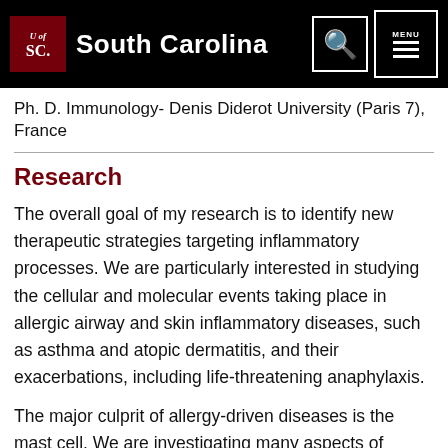University of South Carolina
Ph. D. Immunology- Denis Diderot University (Paris 7), France
Research
The overall goal of my research is to identify new therapeutic strategies targeting inflammatory processes. We are particularly interested in studying the cellular and molecular events taking place in allergic airway and skin inflammatory diseases, such as asthma and atopic dermatitis, and their exacerbations, including life-threatening anaphylaxis.
The major culprit of allergy-driven diseases is the mast cell. We are investigating many aspects of human and rodent mast cell biology from stem to mature mast cells.